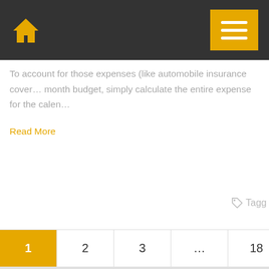Home | Menu
To account for those expenses (like automobile insurance cover... month budget, simply calculate the entire expense for the calen...
Read More
Tagg
Pagination: 1 (current), 2, 3, ..., 18, Next
Search ...